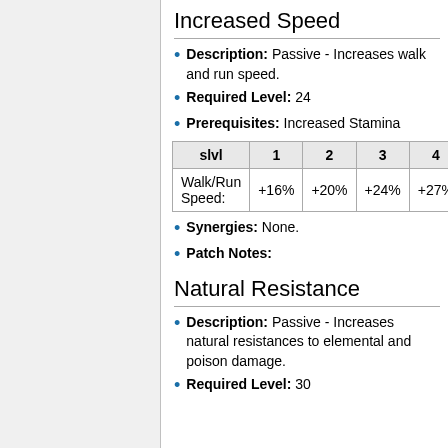Increased Speed
Description: Passive - Increases walk and run speed.
Required Level: 24
Prerequisites: Increased Stamina
| slvl | 1 | 2 | 3 | 4 |
| --- | --- | --- | --- | --- |
| Walk/Run Speed: | +16% | +20% | +24% | +27% |
Synergies: None.
Patch Notes:
Natural Resistance
Description: Passive - Increases natural resistances to elemental and poison damage.
Required Level: 30